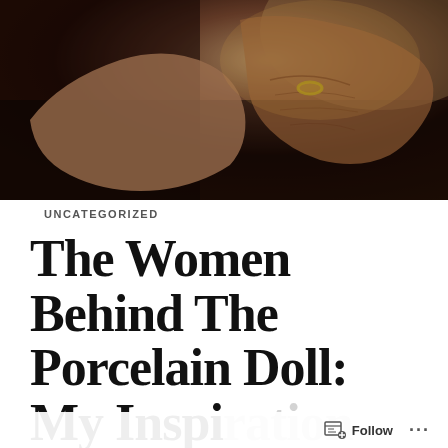[Figure (photo): Close-up photograph of two pairs of hands — a younger person's smooth hands holding an elderly person's wrinkled hands with a gold ring, photographed in warm, dark tones.]
UNCATEGORIZED
The Women Behind The Porcelain Doll: My Inspiration